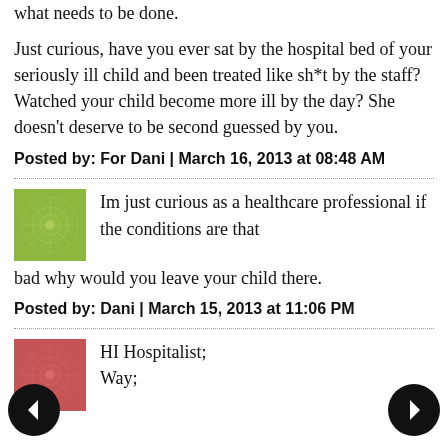what needs to be done.
Just curious, have you ever sat by the hospital bed of your seriously ill child and been treated like sh*t by the staff? Watched your child become more ill by the day? She doesn't deserve to be second guessed by you.
Posted by: For Dani | March 16, 2013 at 08:48 AM
Im just curious as a healthcare professional if the conditions are that bad why would you leave your child there.
Posted by: Dani | March 15, 2013 at 11:06 PM
HI Hospitalist;
Way;